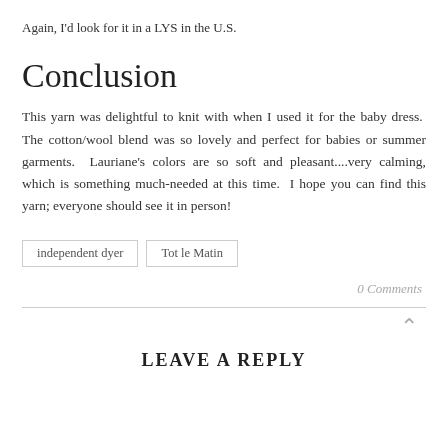Again, I'd look for it in a LYS in the U.S.
Conclusion
This yarn was delightful to knit with when I used it for the baby dress.  The cotton/wool blend was so lovely and perfect for babies or summer garments.  Lauriane's colors are so soft and pleasant....very calming, which is something much-needed at this time.  I hope you can find this yarn; everyone should see it in person!
independent dyer
Tot le Matin
0 Comments
LEAVE A REPLY